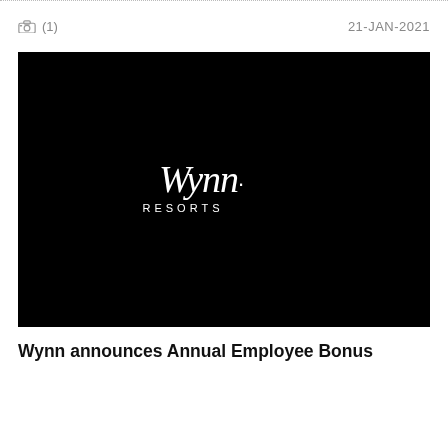(1)  21-JAN-2021
[Figure (logo): Wynn Resorts logo in white on black background, with cursive 'Wynn.' signature script above 'RESORTS' in spaced capitals]
Wynn announces Annual Employee Bonus